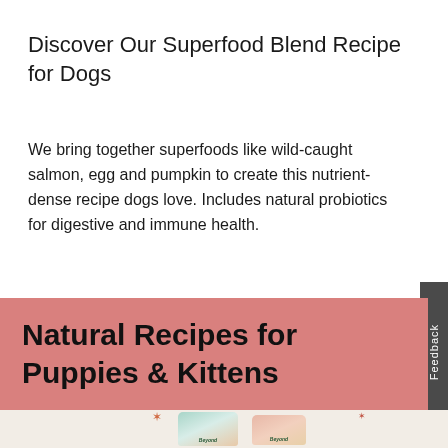Discover Our Superfood Blend Recipe for Dogs
We bring together superfoods like wild-caught salmon, egg and pumpkin to create this nutrient-dense recipe dogs love. Includes natural probiotics for digestive and immune health.
SEE MORE
Natural Recipes for Puppies & Kittens
[Figure (photo): Product bags of Beyond brand pet food for puppies and kittens]